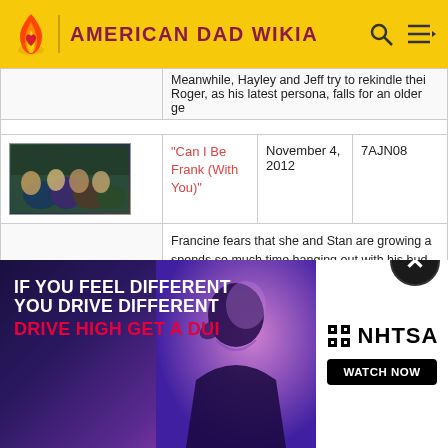AMERICAN DAD WIKIA
| Image | Title | Air Date | Production Code |
| --- | --- | --- | --- |
| [image] | "Can I Be Frank (With You)" | November 4, 2012 | 7AJN08 |
| [description] | Francine fears that she and Stan are growing a... spends so much time hanging out with his bud... House." Meanwhile, Steve and his friends are re... band and make a music video. |  |  |
[Figure (screenshot): NHTSA advertisement: 'IF YOU FEEL DIFFERENT YOU DRIVE DIFFERENT DRIVE HIGH GET A DUI' with person silhouette and NHTSA logo with WATCH NOW button]
"Why Can't... December ... 7AJN06